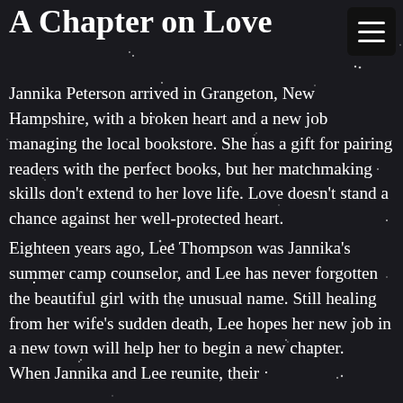A Chapter on Love
Jannika Peterson arrived in Grangeton, New Hampshire, with a broken heart and a new job managing the local bookstore. She has a gift for pairing readers with the perfect books, but her matchmaking skills don’t extend to her love life. Love doesn’t stand a chance against her well-protected heart.
Eighteen years ago, Lee Thompson was Jannika’s summer camp counselor, and Lee has never forgotten the beautiful girl with the unusual name. Still healing from her wife’s sudden death, Lee hopes her new job in a new town will help her to begin a new chapter. When Jannika and Lee reunite, their